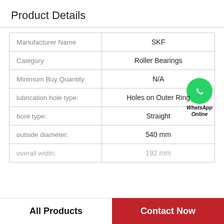Product Details
| Property | Value |
| --- | --- |
| Manufacturer Name | SKF |
| Category | Roller Bearings |
| Minimum Buy Quantity | N/A |
| lubrication hole type: | Holes on Outer Ring |
| bore type: | Straight |
| outside diameter: | 540 mm |
| overall width: | 192 mm |
WhatsApp Online
All Products | Contact Now